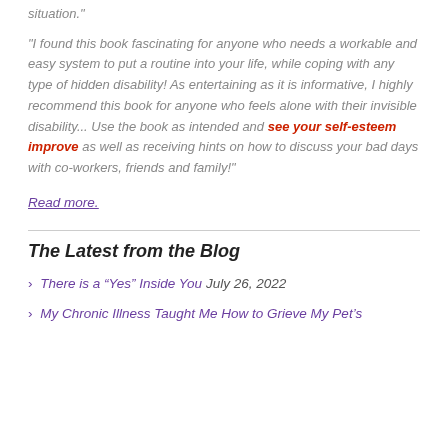situation."
"I found this book fascinating for anyone who needs a workable and easy system to put a routine into your life, while coping with any type of hidden disability! As entertaining as it is informative, I highly recommend this book for anyone who feels alone with their invisible disability... Use the book as intended and see your self-esteem improve as well as receiving hints on how to discuss your bad days with co-workers, friends and family!"
Read more.
The Latest from the Blog
There is a “Yes” Inside You July 26, 2022
My Chronic Illness Taught Me How to Grieve My Pet’s